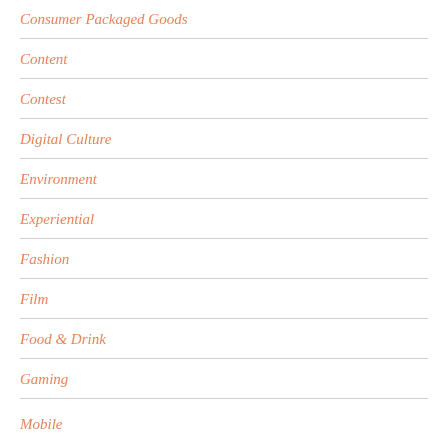Consumer Packaged Goods
Content
Contest
Digital Culture
Environment
Experiential
Fashion
Film
Food & Drink
Gaming
Mobile